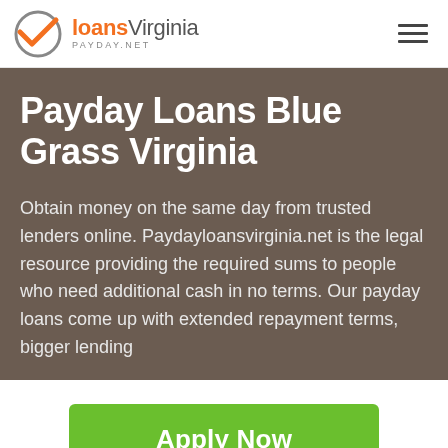loansVirginia PAYDAY.NET
Payday Loans Blue Grass Virginia
Obtain money on the same day from trusted lenders online. Paydayloansvirginia.net is the legal resource providing the required sums to people who need additional cash in no terms. Our payday loans come up with extended repayment terms, bigger lending
Apply Now
Applying does NOT affect your credit score!
No credit check to apply.